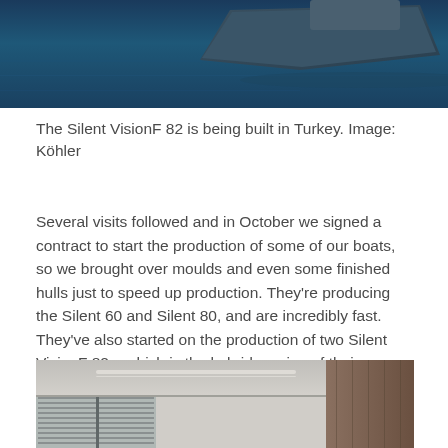[Figure (photo): Aerial or side view of a boat hull on water, dark blue water visible, partial view of yacht hull]
The Silent VisionF 82 is being built in Turkey. Image: Köhler
Several visits followed and in October we signed a contract to start the production of some of our boats, so we brought over moulds and even some finished hulls just to speed up production. They're producing the Silent 60 and Silent 80, and are incredibly fast. They've also started on the production of two Silent VisionF 82s, which is the hybrid version of their VisionF 80.
[Figure (photo): Interior of a modern yacht cabin showing ceiling, windows with blinds, and wood paneling on the wall]